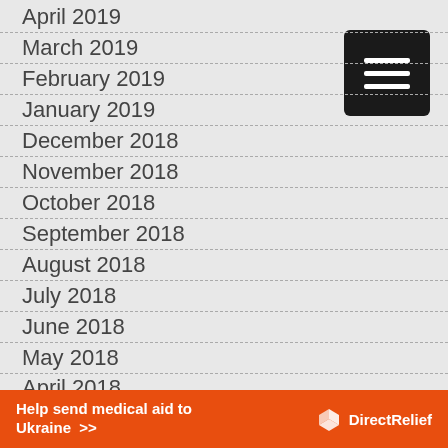April 2019
March 2019
February 2019
January 2019
December 2018
November 2018
October 2018
September 2018
August 2018
July 2018
June 2018
May 2018
April 2018
[Figure (illustration): Black hamburger menu icon button with three white horizontal lines]
Help send medical aid to Ukraine >> DirectRelief